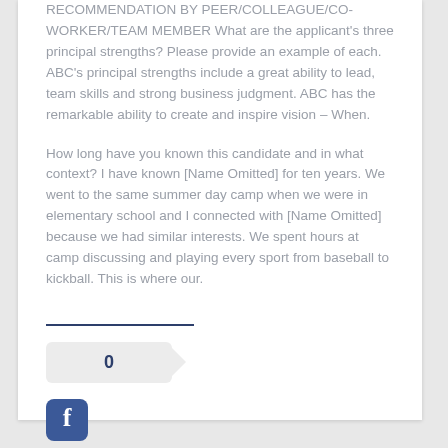RECOMMENDATION BY PEER/COLLEAGUE/CO-WORKER/TEAM MEMBER What are the applicant's three principal strengths? Please provide an example of each. ABC's principal strengths include a great ability to lead, team skills and strong business judgment. ABC has the remarkable ability to create and inspire vision – When.
How long have you known this candidate and in what context? I have known [Name Omitted] for ten years. We went to the same summer day camp when we were in elementary school and I connected with [Name Omitted] because we had similar interests. We spent hours at camp discussing and playing every sport from baseball to kickball. This is where our.
[Figure (other): A vote badge showing the number 0 with a right-pointing arrow shape, followed by a Facebook icon button below it.]